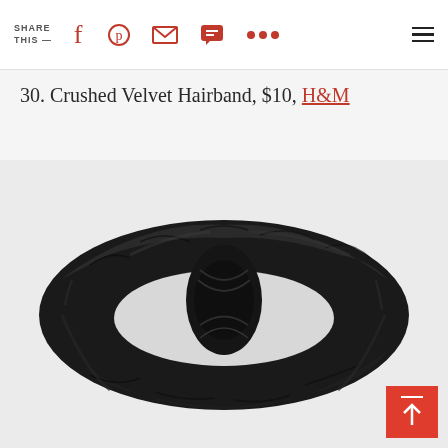SHARE THIS — [social icons: Facebook, Pinterest, Email, SMS, More, Menu]
30. Crushed Velvet Hairband, $10, H&M
[Figure (photo): Black crushed velvet hairband twisted in the center, photographed on a light gray background.]